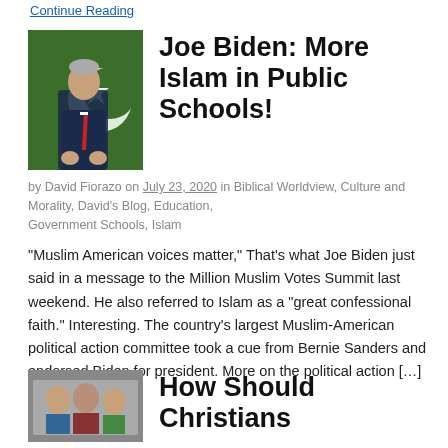Continue Reading
Joe Biden: More Islam in Public Schools!
by David Fiorazo on July 23, 2020 in Biblical Worldview, Culture and Morality, David's Blog, Education, Government Schools, Islam
“Muslim American voices matter,” That’s what Joe Biden just said in a message to the Million Muslim Votes Summit last weekend. He also referred to Islam as a “great confessional faith.” Interesting. The country’s largest Muslim-American political action committee took a cue from Bernie Sanders and endorsed Biden for president. More on the political action […]
Continue Reading
How Should Christians